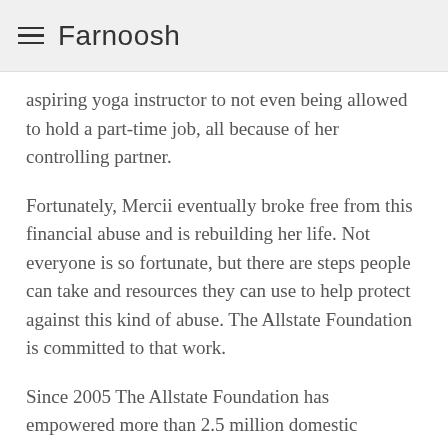Farnoosh
aspiring yoga instructor to not even being allowed to hold a part-time job, all because of her controlling partner.
Fortunately, Mercii eventually broke free from this financial abuse and is rebuilding her life. Not everyone is so fortunate, but there are steps people can take and resources they can use to help protect against this kind of abuse. The Allstate Foundation is committed to that work.
Since 2005 The Allstate Foundation has empowered more than 2.5 million domestic